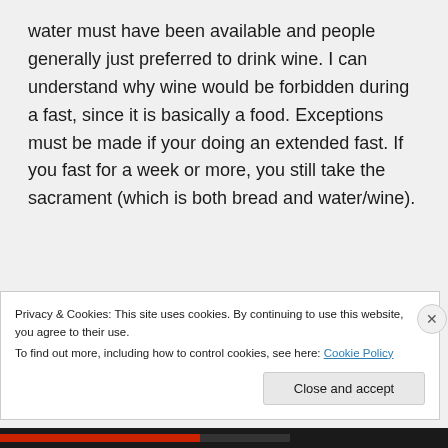water must have been available and people generally just preferred to drink wine. I can understand why wine would be forbidden during a fast, since it is basically a food. Exceptions must be made if your doing an extended fast. If you fast for a week or more, you still take the sacrament (which is both bread and water/wine).
★ Like
Privacy & Cookies: This site uses cookies. By continuing to use this website, you agree to their use. To find out more, including how to control cookies, see here: Cookie Policy
Close and accept